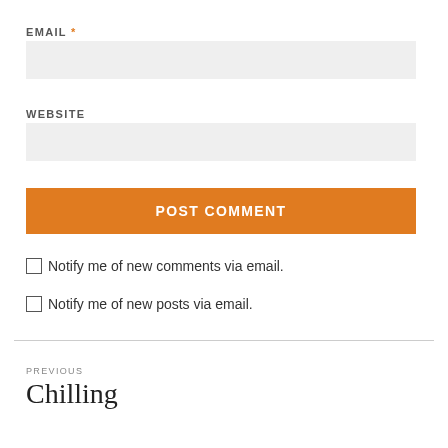EMAIL *
[Figure (other): Email input text field, light gray background]
WEBSITE
[Figure (other): Website input text field, light gray background]
POST COMMENT
Notify me of new comments via email.
Notify me of new posts via email.
PREVIOUS
Chilling